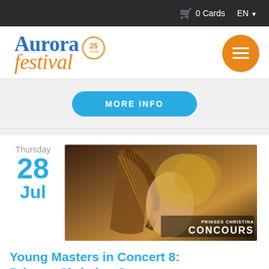0 Cards  EN
[Figure (logo): Aurora Festival 25 jaar logo with orange circle badge and hamburger menu button]
MORE INFO
Thursday 28 Jul
[Figure (photo): Person playing harp with PRINSES CHRISTINA CONCOURS text overlay]
Young Masters in Concert 8: Prinses Christina Concours
Prins Claus Conservatorium